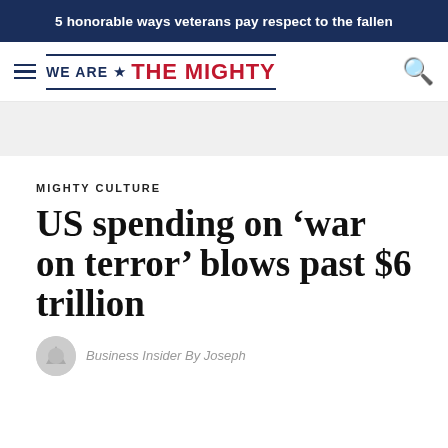5 honorable ways veterans pay respect to the fallen
[Figure (logo): We Are The Mighty website logo with hamburger menu icon and search icon]
MIGHTY CULTURE
US spending on ‘war on terror’ blows past $6 trillion
Business Insider By Joseph